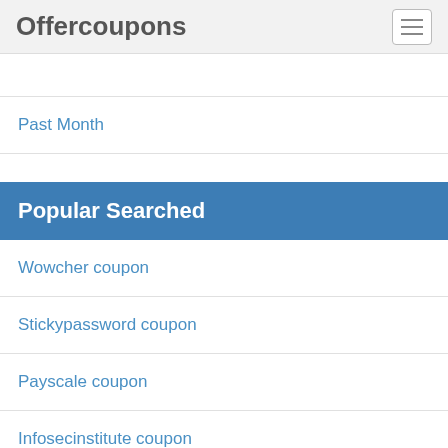Offercoupons
Past Month
Popular Searched
Wowcher coupon
Stickypassword coupon
Payscale coupon
Infosecinstitute coupon